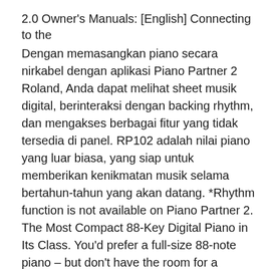2.0 Owner's Manuals: [English] Connecting to the
Dengan memasangkan piano secara nirkabel dengan aplikasi Piano Partner 2 Roland, Anda dapat melihat sheet musik digital, berinteraksi dengan backing rhythm, dan mengakses berbagai fitur yang tidak tersedia di panel. RP102 adalah nilai piano yang luar biasa, yang siap untuk memberikan kenikmatan musik selama bertahun-tahun yang akan datang. *Rhythm function is not available on Piano Partner 2. The Most Compact 88-Key Digital Piano in Its Class. You’d prefer a full-size 88-note piano – but don’t have the room for a regular cabinet in your home. The Roland FP-10 is the answer. As the most compact 88-key digital piano in its class,